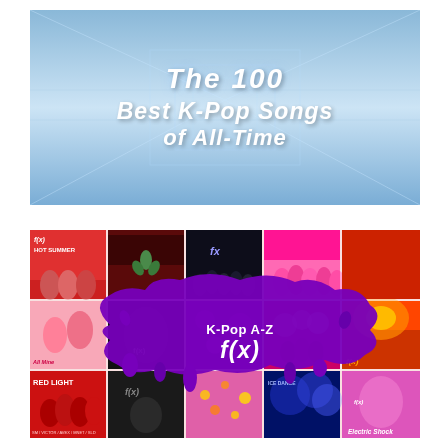[Figure (illustration): Blue corridor/futuristic background with bold white italic text reading 'The 100 Best K-Pop Songs of All-Time' with black squares as decorative elements]
[Figure (illustration): K-Pop album cover collage featuring various f(x) related covers with a purple paint splash overlay in the center reading 'K-Pop A-Z f(x)']